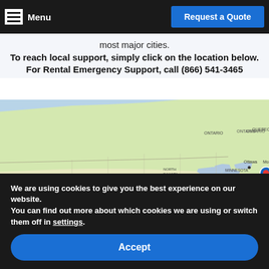Menu | Request a Quote
most major cities.
To reach local support, simply click on the location below.
For Rental Emergency Support, call (866) 541-3465
[Figure (map): Map of North America showing location pins across major US cities including San Francisco, Chicago, Philadelphia/New York area, and others along the eastern seaboard.]
We are using cookies to give you the best experience on our website.
You can find out more about which cookies we are using or switch them off in settings.
Accept